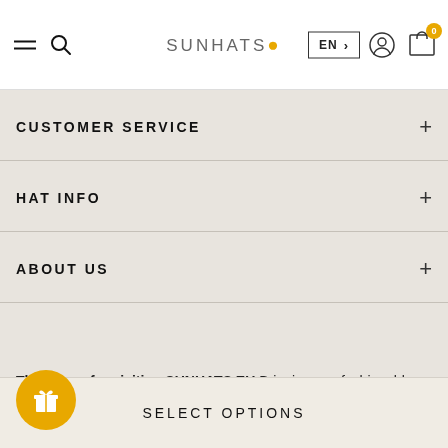SUNHATS• (logo) | EN > | user icon | cart (0)
CUSTOMER SERVICE +
HAT INFO +
ABOUT US +
Thank you for visiting SUNHATS.EU Bringing you fashionable, premium quality sun hat styles to easily shop online Zonnehoeden.nl, Sonnenhute.de, Chapeaux.shop and Z...
SELECT OPTIONS